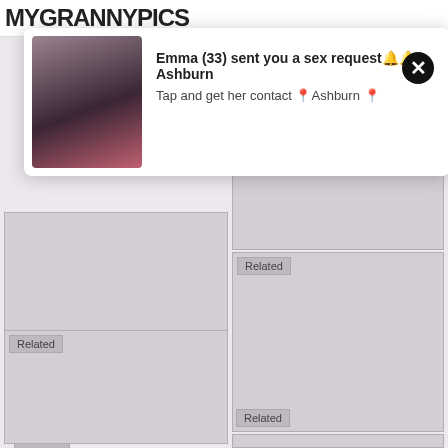MYGRANNYPICS
[Figure (screenshot): Notification popup showing a woman's photo with text: Emma (33) sent you a sex request Ashburn. Tap and get her contact Ashburn. Close button (X) visible.]
Emma (33) sent you a sex requestðAshburn
Tap and get her contact 📍Ashburn 📍
Related
Related
Related